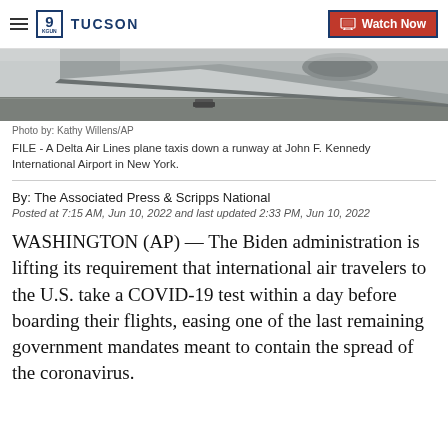9 TUCSON | Watch Now
[Figure (photo): A Delta Air Lines plane taxis down a runway at John F. Kennedy International Airport in New York. The underside of the aircraft wing and jet engine are visible against an overcast sky.]
Photo by: Kathy Willens/AP
FILE - A Delta Air Lines plane taxis down a runway at John F. Kennedy International Airport in New York.
By: The Associated Press & Scripps National
Posted at 7:15 AM, Jun 10, 2022 and last updated 2:33 PM, Jun 10, 2022
WASHINGTON (AP) — The Biden administration is lifting its requirement that international air travelers to the U.S. take a COVID-19 test within a day before boarding their flights, easing one of the last remaining government mandates meant to contain the spread of the coronavirus.